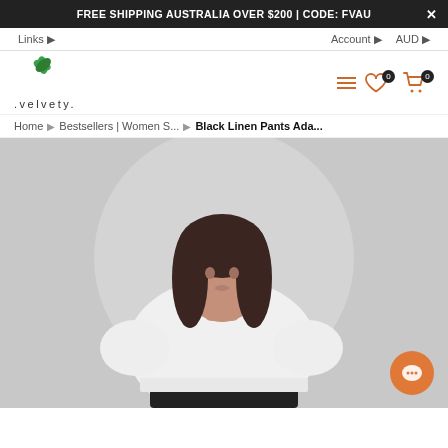FREE SHIPPING AUSTRALIA OVER $200 | CODE: FVAU
Links  |  Account  |  AUD
[Figure (logo): Velvety brand logo with green leaf recycling symbol and '.velvety.' text]
Breadcrumb: Home > Bestsellers | Women S... > Black Linen Pants Ada...
[Figure (photo): Female model wearing a white short-sleeve top and dark linen pants against grey background]